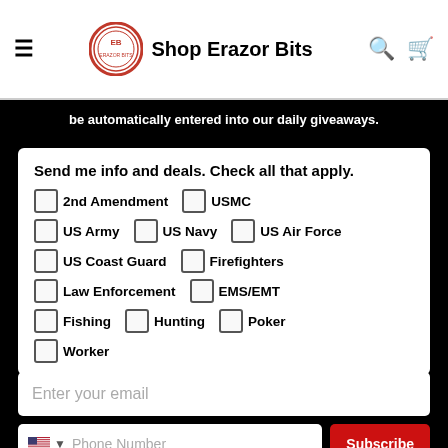Shop Erazor Bits
be automatically entered into our daily giveaways.
Send me info and deals. Check all that apply.
2nd Amendment
USMC
US Army
US Navy
US Air Force
US Coast Guard
Firefighters
Law Enforcement
EMS/EMT
Fishing
Hunting
Poker
Worker
Enter your email
Phone Number
Subscribe